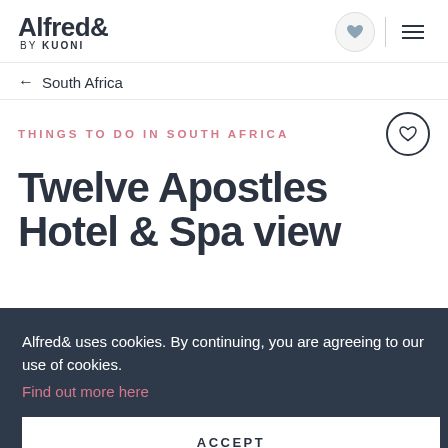Alfred& by KUONI
← South Africa
THINGS TO DO IN SOUTH AFRICA
Twelve Apostles Hotel & Spa view
Alfred& uses cookies. By continuing, you are agreeing to our use of cookies. Find out more here
ACCEPT
The world-renowned Cape